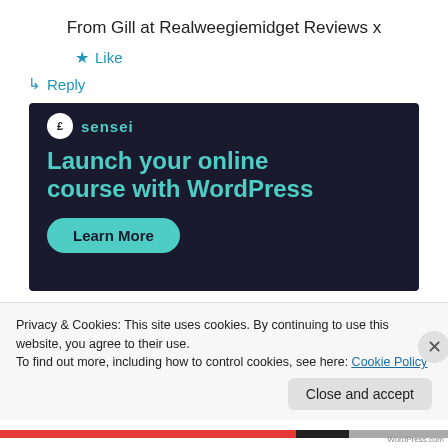From Gill at Realweegiemidget Reviews x
★ Like
↳ Reply
[Figure (screenshot): Advertisement banner with dark navy background showing Sensei logo and text 'Launch your online course with WordPress' with a teal 'Learn More' button.]
Privacy & Cookies: This site uses cookies. By continuing to use this website, you agree to their use.
To find out more, including how to control cookies, see here: Cookie Policy